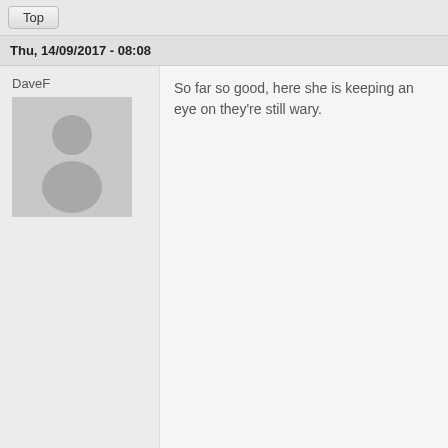Top
Thu, 14/09/2017 - 08:08
DaveF
So far so good, here she is keeping an eye on they're still wary.